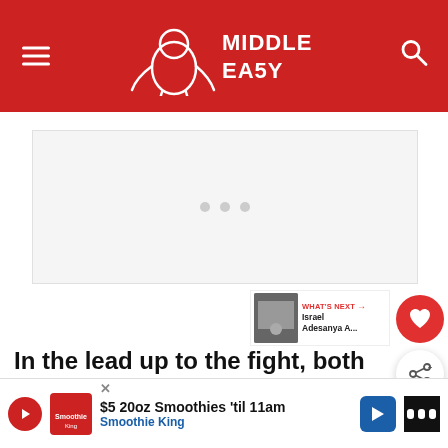Middle Easy
[Figure (other): Advertisement placeholder with loading dots]
[Figure (other): What's Next panel: Israel Adesanya A...]
In the lead up to the fight, both fighters showed a lot of animosity towards each other and that ce... around
[Figure (other): Bottom banner ad: $5 20oz Smoothies 'til 11am - Smoothie King]